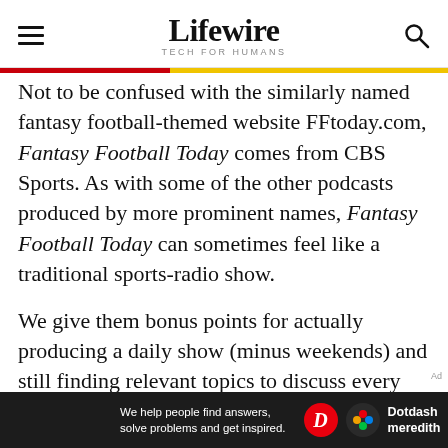Lifewire TECH FOR HUMANS
Not to be confused with the similarly named fantasy football-themed website FFtoday.com, Fantasy Football Today comes from CBS Sports. As with some of the other podcasts produced by more prominent names, Fantasy Football Today can sometimes feel like a traditional sports-radio show.
We give them bonus points for actually producing a daily show (minus weekends) and still finding relevant topics to discuss every time. Since this podcast is associated with CBS,
[Figure (other): Dotdash Meredith advertisement banner at the bottom of the page with text 'We help people find answers, solve problems and get inspired.' and the Dotdash Meredith logo]